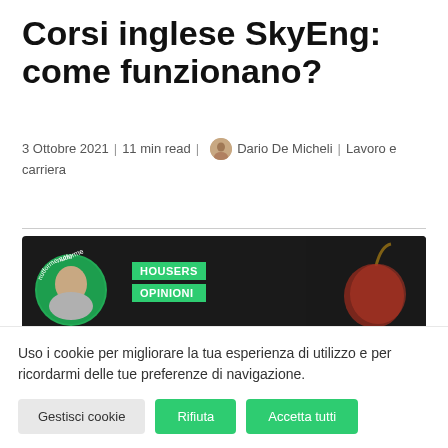Corsi inglese SkyEng: come funzionano?
3 Ottobre 2021 | 11 min read | Dario De Micheli | Lavoro e carriera
[Figure (photo): Banner image with nutforme.com branding, a circular portrait photo on a green background on the left, green labels reading HOUSERS and OPINIONI in the center, and a dark background with fruit on the right]
Uso i cookie per migliorare la tua esperienza di utilizzo e per ricordarmi delle tue preferenze di navigazione.
Gestisci cookie | Rifiuta | Accetta tutti